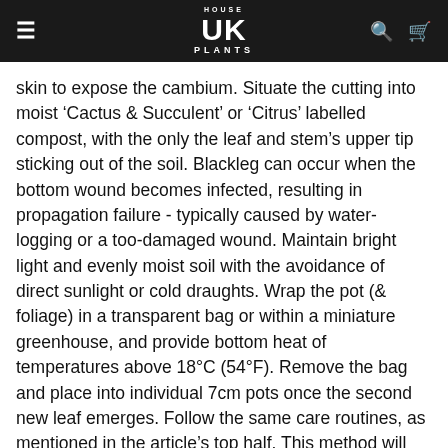HOUSE UK PLANTS
skin to expose the cambium. Situate the cutting into moist 'Cactus & Succulent' or 'Citrus' labelled compost, with the only the leaf and stem's upper tip sticking out of the soil. Blackleg can occur when the bottom wound becomes infected, resulting in propagation failure - typically caused by water-logging or a too-damaged wound. Maintain bright light and evenly moist soil with the avoidance of direct sunlight or cold draughts. Wrap the pot (& foliage) in a transparent bag or within a miniature greenhouse, and provide bottom heat of temperatures above 18°C (54°F). Remove the bag and place into individual 7cm pots once the second new leaf emerges. Follow the same care routines, as mentioned in the article's top half. This method will take up to five months, so patience and the correct environment are paramount for success!